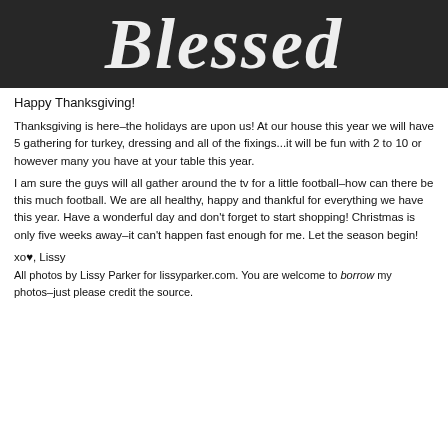[Figure (photo): Chalkboard-style dark background with cursive white script text reading 'Blessed']
Happy Thanksgiving!
Thanksgiving is here–the holidays are upon us! At our house this year we will have 5 gathering for turkey, dressing and all of the fixings...it will be fun with 2 to 10 or however many you have at your table this year.
I am sure the guys will all gather around the tv for a little football–how can there be this much football. We are all healthy, happy and thankful for everything we have this year. Have a wonderful day and don't forget to start shopping! Christmas is only five weeks away–it can't happen fast enough for me. Let the season begin!
xo♥, Lissy
All photos by Lissy Parker for lissyparker.com. You are welcome to borrow my photos–just please credit the source.